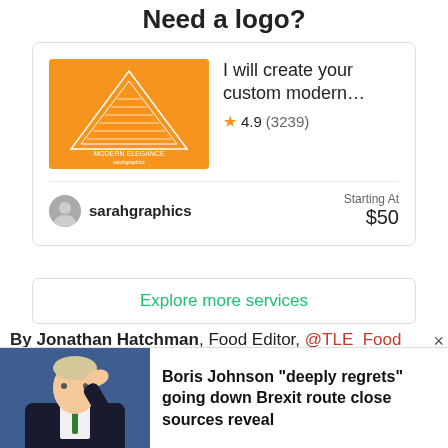Need a logo?
[Figure (screenshot): Fiverr service card showing a logo design gig by sarahgraphics. Orange image with white triangle logo. Rated 4.9 (3239 reviews). Starting At $50.]
Explore more services
By Jonathan Hatchman, Food Editor, @TLE_Food
Situated towards the less exciting end of the King's Road, Masala Grill first opened in May, taking over the spot of the now relocated Chutney Mary (now in St.
[Figure (screenshot): Breaking news overlay with photo of Boris Johnson and headline: Boris Johnson "deeply regrets" going down Brexit route close sources reveal]